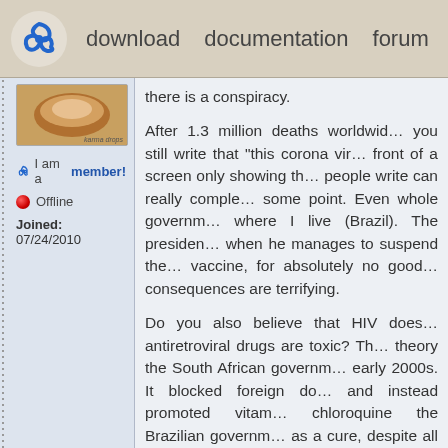download   documentation   forum   donate
[Figure (logo): Blue spiral/triskele logo icon]
[Figure (photo): User avatar image (food/donut shaped)]
I am a member!
Offline
Joined: 07/24/2010
there is a conspiracy.

After 1.3 million deaths worldwide, you still write that "this corona vir... front of a screen only showing th... people write can really comple... some point. Even whole governm... where I live (Brazil). The presiden... when he manages to suspend the... vaccine, for absolutely no good... consequences are terrifying.

Do you also believe that HIV does... antiretroviral drugs are toxic? Th... theory the South African governm... early 2000s. It blocked foreign do... and instead promoted vitam... chloroquine the Brazilian governm... as a cure, despite all evidences. Re...

More than 330,000 lives or app... person-years were lost because...